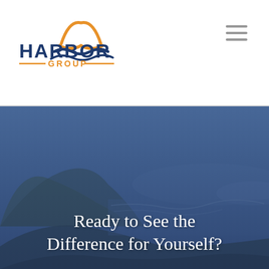[Figure (logo): Harbor Group logo with sun and waves above text HARBOR GROUP]
[Figure (illustration): Hamburger menu icon with three horizontal lines]
[Figure (photo): Background photo of a mountain/hillside landscape with water and blue sky, overlaid with dark blue tint]
Ready to See the Difference for Yourself?